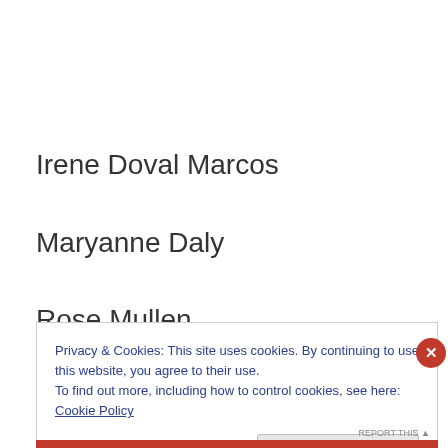Irene Doval Marcos
Maryanne Daly
Rose Mullen
Tracy Wall
Maggie Bent
Privacy & Cookies: This site uses cookies. By continuing to use this website, you agree to their use.
To find out more, including how to control cookies, see here: Cookie Policy
Close and accept